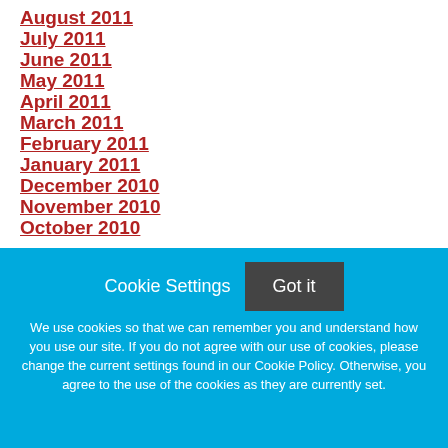August 2011
July 2011
June 2011
May 2011
April 2011
March 2011
February 2011
January 2011
December 2010
November 2010
October 2010
Cookie Settings
Got it
We use cookies so that we can remember you and understand how you use our site. If you do not agree with our use of cookies, please change the current settings found in our Cookie Policy. Otherwise, you agree to the use of the cookies as they are currently set.